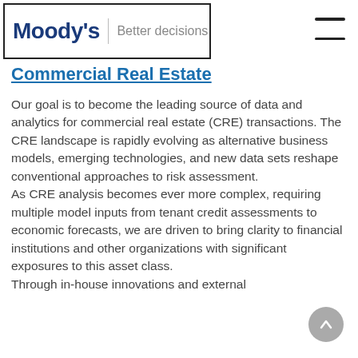Moody's | Better decisions
Commercial Real Estate
Our goal is to become the leading source of data and analytics for commercial real estate (CRE) transactions. The CRE landscape is rapidly evolving as alternative business models, emerging technologies, and new data sets reshape conventional approaches to risk assessment.
As CRE analysis becomes ever more complex, requiring multiple model inputs from tenant credit assessments to economic forecasts, we are driven to bring clarity to financial institutions and other organizations with significant exposures to this asset class.
Through in-house innovations and external